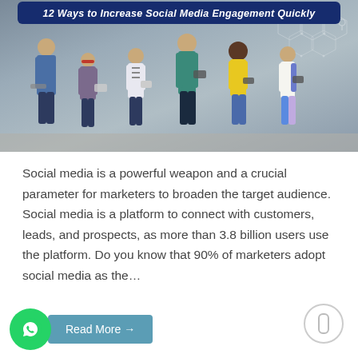[Figure (photo): Infographic image showing six young people standing against a wall using smartphones, with the title '12 Ways to Increase Social Media Engagement Quickly' displayed in a dark blue banner at the top. Hexagonal network graphic overlay visible in the background upper right.]
Social media is a powerful weapon and a crucial parameter for marketers to broaden the target audience. Social media is a platform to connect with customers, leads, and prospects, as more than 3.8 billion users use the platform. Do you know that 90% of marketers adopt social media as the…
Read More →